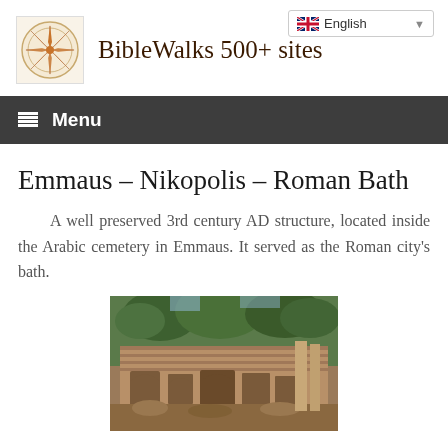BibleWalks 500+ sites
Emmaus – Nikopolis – Roman Bath
A well preserved 3rd century AD structure, located inside the Arabic cemetery in Emmaus. It served as the Roman city's bath.
[Figure (photo): Photograph of ancient Roman bath ruins in Emmaus, showing stone walls with arched niches, partially collapsed, surrounded by trees.]